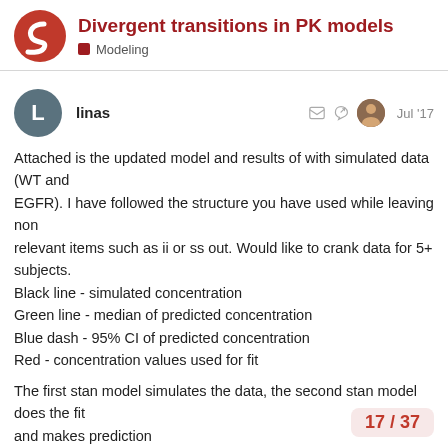Divergent transitions in PK models — Modeling
linas — Jul '17
Attached is the updated model and results of with simulated data (WT and
EGFR). I have followed the structure you have used while leaving non
relevant items such as ii or ss out. Would like to crank data for 5+
subjects.
Black line - simulated concentration
Green line - median of predicted concentration
Blue dash - 95% CI of predicted concentration
Red - concentration values used for fit

The first stan model simulates the data, the second stan model does the fit
and makes prediction
17 / 37